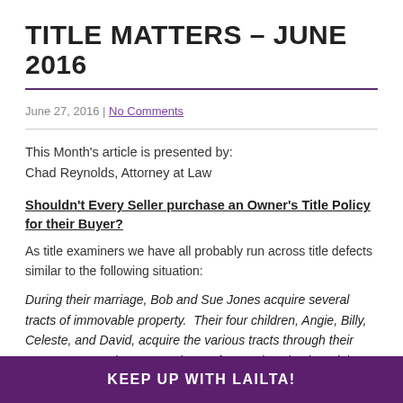TITLE MATTERS – JUNE 2016
June 27, 2016 | No Comments
This Month's article is presented by:
Chad Reynolds, Attorney at Law
Shouldn't Every Seller purchase an Owner's Title Policy for their Buyer?
As title examiners we have all probably run across title defects similar to the following situation:
During their marriage, Bob and Sue Jones acquire several tracts of immovable property. Their four children, Angie, Billy, Celeste, and David, acquire the various tracts through their parents' respective successions. After Angie's death and the completion of her succession (recognizing her
KEEP UP WITH LAILTA!